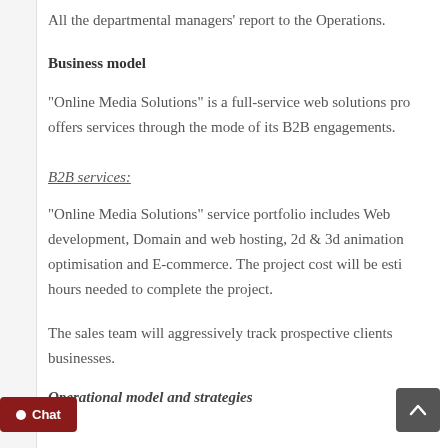All the departmental managers' report to the Operations.
Business model
“Online Media Solutions” is a full-service web solutions pro offers services through the mode of its B2B engagements.
B2B services:
“Online Media Solutions” service portfolio includes Web development, Domain and web hosting, 2d & 3d animation optimisation and E-commerce. The project cost will be esti hours needed to complete the project.
The sales team will aggressively track prospective clients businesses.
Operational model and strategies